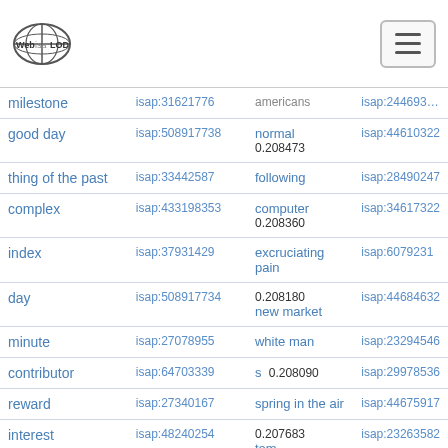Web isa LOD — navigation header with logo and hamburger menu
| term | isap id | related term | isap id 2 |
| --- | --- | --- | --- |
| milestone | isap:31621776 | americans | isap:2440... |
| good day | isap:508917738 | normal
0.208473 | isap:44610322 |
| thing of the past | isap:33442587 | following | isap:28490247 |
| complex | isap:433198353 | computer
0.208360 | isap:34617322 |
| index | isap:37931429 | excruciating pain | isap:6079231 |
| day | isap:508917734 | 0.208180
new market | isap:44684632 |
| minute | isap:27078955 | white man | isap:23294546 |
| contributor | isap:64703339 | s  0.208090 | isap:29978536 |
| reward | isap:27340167 | spring in the air | isap:44675917 |
| interest | isap:48240254 | 0.207683
tom | isap:23263582 |
| pointless | isap:31988683 | darkness | isap:34653916 |